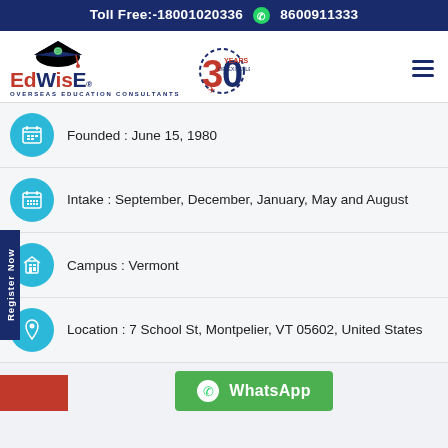Toll Free:-18001020336  8600911333
[Figure (logo): EdWise Overseas Education Consultants logo with graduation cap and 30 Years of Excellence badge]
Founded : June 15, 1980
Intake : September, December, January, May and August
Campus : Vermont
Location : 7 School St, Montpelier, VT 05602, United States
[Figure (other): WhatsApp button in green]